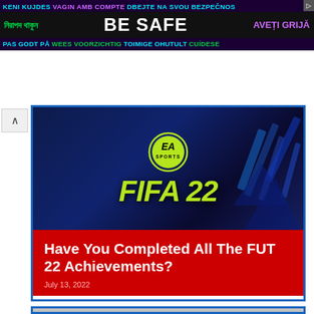[Figure (infographic): Multilingual safety advertisement banner with text 'BE SAFE' in the center, showing safety messages in multiple languages including Bengali, Dutch, Estonian, Swedish, Czech/Slovak, and Romanian on a dark purple/black background.]
[Figure (screenshot): FIFA 22 EA Sports promotional image with dark blue background, EA Sports logo in yellow-green circle, FIFA 22 title in yellow-green italic bold text, and abstract blue digital art in the bottom right.]
Have You Completed All The FUT 22 Achievements?
July 13, 2022
[Figure (screenshot): Bottom portion of another article card with blue border, partially visible.]